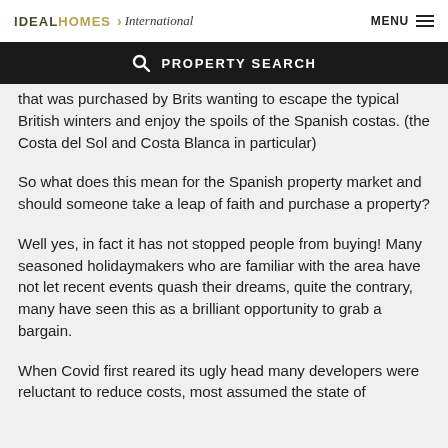IDEAL HOMES International | MENU
PROPERTY SEARCH
that was purchased by Brits wanting to escape the typical British winters and enjoy the spoils of the Spanish costas. (the Costa del Sol and Costa Blanca in particular)
So what does this mean for the Spanish property market and should someone take a leap of faith and purchase a property?
Well yes, in fact it has not stopped people from buying! Many seasoned holidaymakers who are familiar with the area have not let recent events quash their dreams, quite the contrary, many have seen this as a brilliant opportunity to grab a bargain.
When Covid first reared its ugly head many developers were reluctant to reduce costs, most assumed the state of